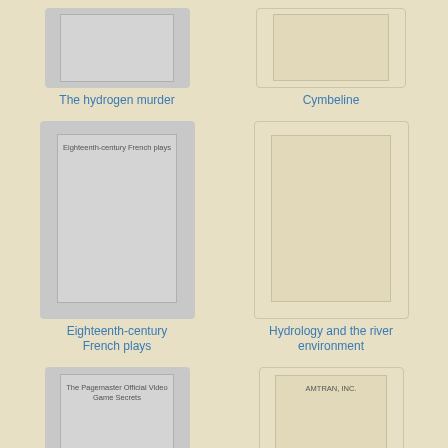[Figure (illustration): Book cover thumbnail for 'The hydrogen murder' - gray book cover]
The hydrogen murder
[Figure (illustration): Book cover thumbnail for 'Cymbeline' - beige book cover]
Cymbeline
[Figure (illustration): Book cover thumbnail for 'Eighteenth-century French plays' - gray book cover with inner text]
Eighteenth-century French plays
[Figure (illustration): Book cover thumbnail for 'Hydrology and the river environment' - beige book cover]
Hydrology and the river environment
[Figure (illustration): Book cover thumbnail for 'The Pagemaster Official Video Game Secrets' - gray book cover with inner text]
The Pagemaster Official Video Game Secrets
[Figure (illustration): Book cover thumbnail for 'AMTRAN, INC.' - beige book cover with inner text]
AMTRAN, INC.